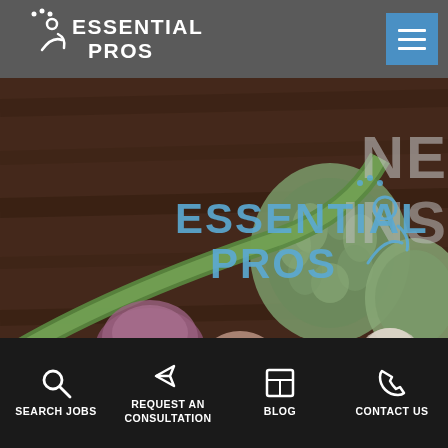[Figure (logo): Essential Pros logo in header — white text on grey background with person icon]
[Figure (photo): Hero banner with dark-toned photo of vegetables (artichokes, leeks, onions) on wooden background, Essential Pros watermark logo centered, partially visible text 'NE...' and 'INS...' on upper right]
[Figure (infographic): Bottom navigation bar with four items: Search Jobs (magnifying glass icon), Request an Consultation (send/arrow icon), Blog (grid/document icon), Contact Us (phone icon)]